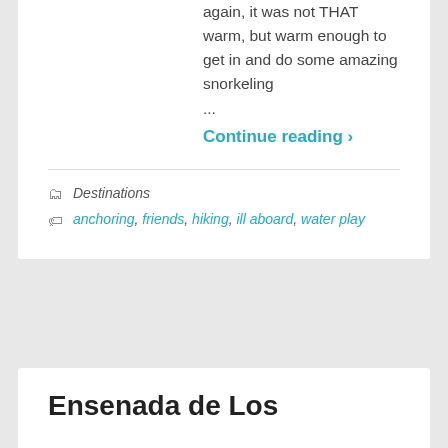again, it was not THAT warm, but warm enough to get in and do some amazing snorkeling
...
Continue reading ›
Destinations
anchoring, friends, hiking, ill aboard, water play
Ensenada de Los